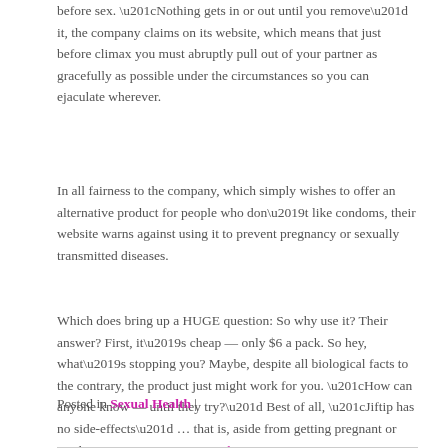before sex. “Nothing gets in or out until you remove” it, the company claims on its website, which means that just before climax you must abruptly pull out of your partner as gracefully as possible under the circumstances so you can ejaculate wherever.
In all fairness to the company, which simply wishes to offer an alternative product for people who don’t like condoms, their website warns against using it to prevent pregnancy or sexually transmitted diseases.
Which does bring up a HUGE question: So why use it? Their answer? First, it’s cheap — only $6 a pack. So hey, what’s stopping you? Maybe, despite all biological facts to the contrary, the product just might work for you. “How can anyone know — until they try?” Best of all, “Jiftip has no side-effects” … that is, aside from getting pregnant or catching an STD. Continue reading →
Posted in Sexual Health |